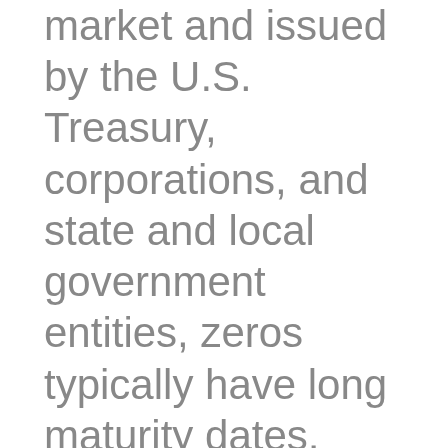market and issued by the U.S. Treasury, corporations, and state and local government entities, zeros typically have long maturity dates, such as 10, 15, or more years. The initial price of a zero depends on the number of years to maturity, current interest